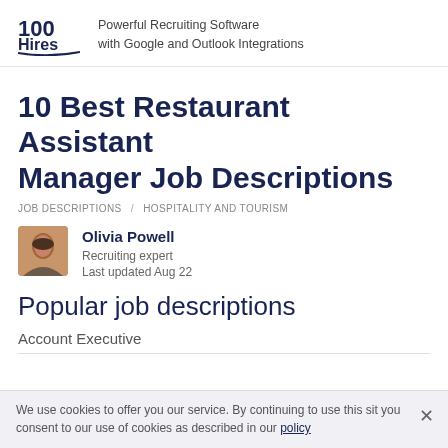100Hires – Powerful Recruiting Software with Google and Outlook Integrations
10 Best Restaurant Assistant Manager Job Descriptions
JOB DESCRIPTIONS / HOSPITALITY AND TOURISM
Olivia Powell
Recruiting expert
Last updated Aug 22
Popular job descriptions
Account Executive
We use cookies to offer you our service. By continuing to use this site you consent to our use of cookies as described in our policy